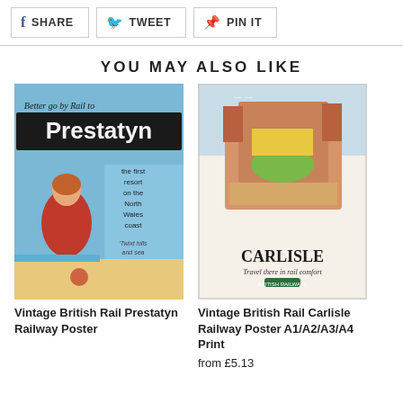[Figure (screenshot): Social sharing buttons row: Facebook SHARE, Twitter TWEET, Pinterest PIN IT]
YOU MAY ALSO LIKE
[Figure (photo): Vintage British Rail Prestatyn Railway Poster showing woman in red swimsuit on beach, text 'Better go by Rail to Prestatyn, the first resort on the North Wales coast']
Vintage British Rail Prestatyn Railway Poster
[Figure (photo): Vintage British Rail Carlisle Railway Poster showing illustrated map of Carlisle castle, text 'CARLISLE Travel there in rail comfort']
Vintage British Rail Carlisle Railway Poster A1/A2/A3/A4 Print
from £5.13